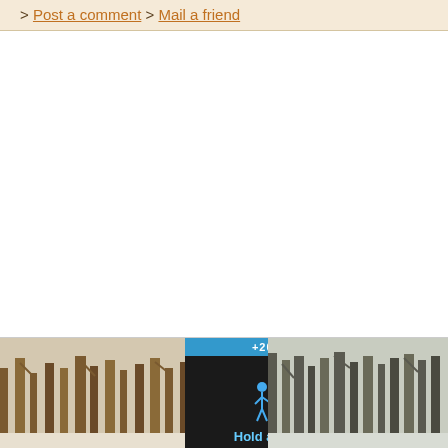> Post a comment > Mail a friend
[Figure (screenshot): Advertisement banner at the bottom of a webpage showing a dark overlay with 'Hold and Move' app/game advertisement, flanked by photos of winter trees. Has a blue top strip with score display (+20 | 33), stick figure icons in blue, and close/help buttons (? and X) in top right.]